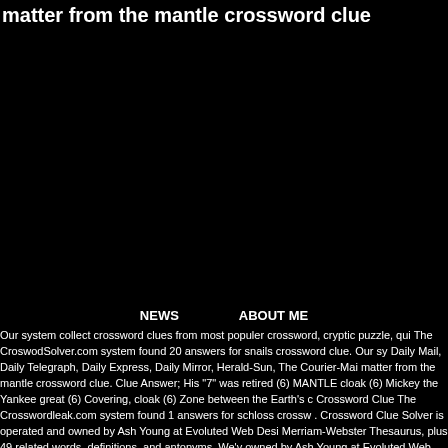matter from the mantle crossword clue
NEWS   ABOUT ME
Our system collect crossword clues from most populer crossword, cryptic puzzle, qui The CroswodSolver.com system found 20 answers for snails crossword clue. Our sy Daily Mail, Daily Telegraph, Daily Express, Daily Mirror, Herald-Sun, The Courier-Mai matter from the mantle crossword clue. Clue Answer; His "7" was retired (6) MANTLE cloak (6) Mickey the Yankee great (6) Covering, cloak (6) Zone between the Earth's c Crossword Clue The Crosswordleak.com system found 1 answers for schloss crossw . Crossword Clue Solver is operated and owned by Ash Young at Evoluted Web Desi Merriam-Webster Thesaurus, plus 49 related words, definitions, and antonyms. We'v owned by Ash Young at Evoluted Web Design. Increase your vocabulary and gen